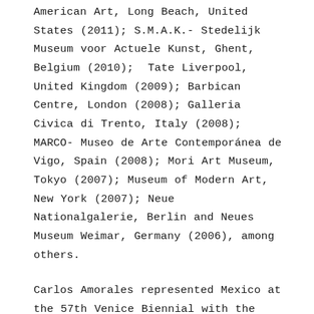American Art, Long Beach, United States (2011); S.M.A.K.- Stedelijk Museum voor Actuele Kunst, Ghent, Belgium (2010); Tate Liverpool, United Kingdom (2009); Barbican Centre, London (2008); Galleria Civica di Trento, Italy (2008); MARCO- Museo de Arte Contemporánea de Vigo, Spain (2008); Mori Art Museum, Tokyo (2007); Museum of Modern Art, New York (2007); Neue Nationalgalerie, Berlin and Neues Museum Weimar, Germany (2006), among others.
Carlos Amorales represented Mexico at the 57th Venice Biennial with the project Life in the Folds (2017). His work has been part other biennials such as the 10th Shanghai Biennale, China (2015); 2 and 8 Berlin Biennial (2001 and 2014); Sharjah Biennal 11, United Arab Emirates (2013); The 12th and 10th Bienal de la Habana, La Havana, Cuba (2015 and